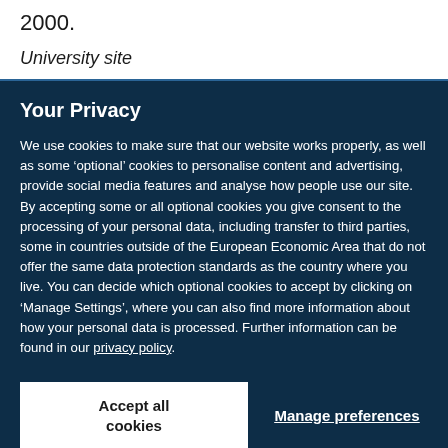2000.
University site
Your Privacy
We use cookies to make sure that our website works properly, as well as some ‘optional’ cookies to personalise content and advertising, provide social media features and analyse how people use our site. By accepting some or all optional cookies you give consent to the processing of your personal data, including transfer to third parties, some in countries outside of the European Economic Area that do not offer the same data protection standards as the country where you live. You can decide which optional cookies to accept by clicking on ‘Manage Settings’, where you can also find more information about how your personal data is processed. Further information can be found in our privacy policy.
Accept all cookies
Manage preferences